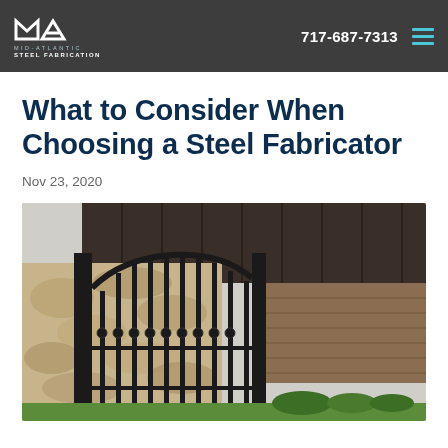MID-ATLANTIC STEEL FABRICATION | 717-687-7313
What to Consider When Choosing a Steel Fabricator
Nov 23, 2020
[Figure (photo): A decorative black steel gate with ornamental vertical balusters and a curved top rail, set against a stone wall and a building with a dark metal standing-seam roof and wood siding, with green lawn visible at the base.]